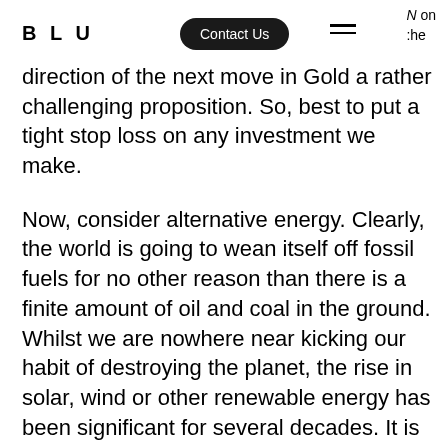BLU | Contact Us | N on the
direction of the next move in Gold a rather challenging proposition. So, best to put a tight stop loss on any investment we make.
Now, consider alternative energy. Clearly, the world is going to wean itself off fossil fuels for no other reason than there is a finite amount of oil and coal in the ground. Whilst we are nowhere near kicking our habit of destroying the planet, the rise in solar, wind or other renewable energy has been significant for several decades. It is estimated that by 2025 more than one third